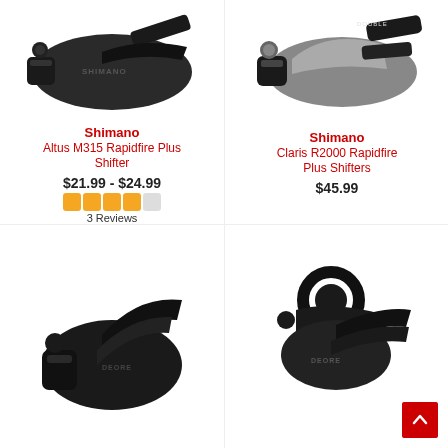[Figure (photo): Shimano Altus M315 Rapidfire Plus Shifter product photo, black shifter on white background]
[Figure (photo): Shimano Claris R2000 Rapidfire Plus Shifters product photo, black and grey shifter on white background]
Shimano
Altus M315 Rapidfire Plus Shifter
$21.99 - $24.99
3 Reviews
Shimano
Claris R2000 Rapidfire Plus Shifters
$45.99
[Figure (photo): Shimano Deore shifter product photo, black shifter on white background, bottom left]
[Figure (photo): Shimano Deore shifter product photo, black shifter on white background, bottom right]